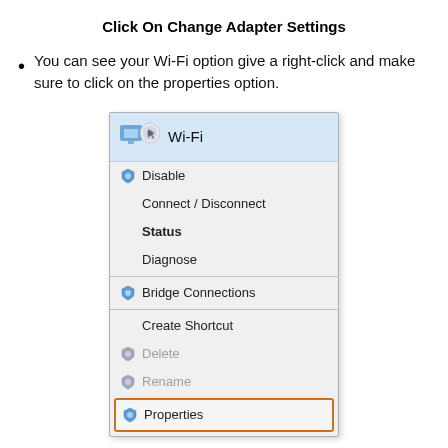Click On Change Adapter Settings
You can see your Wi-Fi option give a right-click and make sure to click on the properties option.
[Figure (screenshot): Windows right-click context menu for Wi-Fi adapter showing options: Wi-Fi (header), Disable, Connect / Disconnect, Status (bold), Diagnose, Bridge Connections, Create Shortcut, Delete (grayed), Rename (grayed), and Properties (highlighted with orange border).]